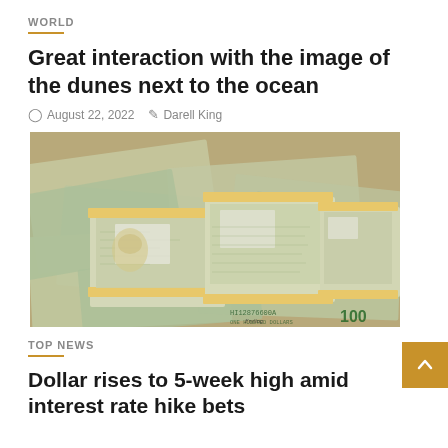WORLD
Great interaction with the image of the dunes next to the ocean
August 22, 2022   Darell King
[Figure (photo): Stacks of bundled US $100 dollar bills scattered on a surface covered with more $100 bills, with yellow/gold paper bands around the stacks]
TOP NEWS
Dollar rises to 5-week high amid interest rate hike bets